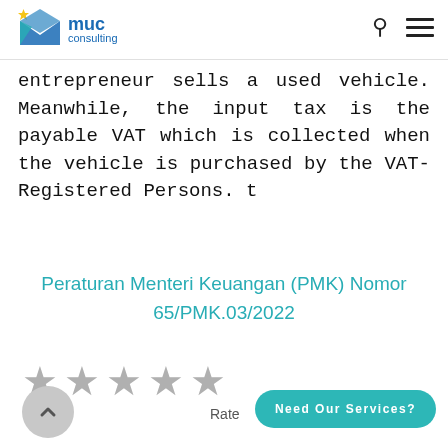[Figure (logo): MUC Consulting logo with blue mountain/envelope icon, search icon and hamburger menu]
entrepreneur sells a used vehicle. Meanwhile, the input tax is the payable VAT which is collected when the vehicle is purchased by the VAT-Registered Persons. t
Peraturan Menteri Keuangan (PMK) Nomor 65/PMK.03/2022
[Figure (other): Five grey star rating icons]
Rate
[Figure (other): Teal rounded button with text 'Need Our Services?']
[Figure (other): Grey circular back-to-top button with upward chevron]